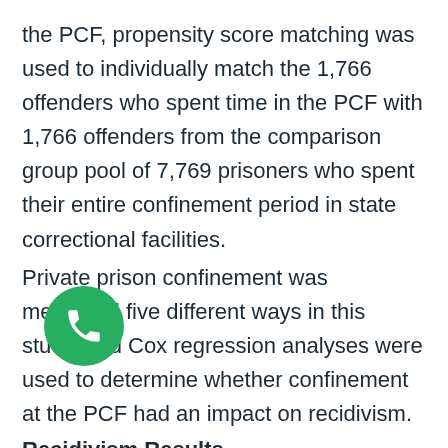the PCF, propensity score matching was used to individually match the 1,766 offenders who spent time in the PCF with 1,766 offenders from the comparison group pool of 7,769 prisoners who spent their entire confinement period in state correctional facilities.
Private prison confinement was measured five different ways in this study, and Cox regression analyses were used to determine whether confinement at the PCF had an impact on recidivism.
Recidivism Results
The data in Figure 1 show that offenders confined at